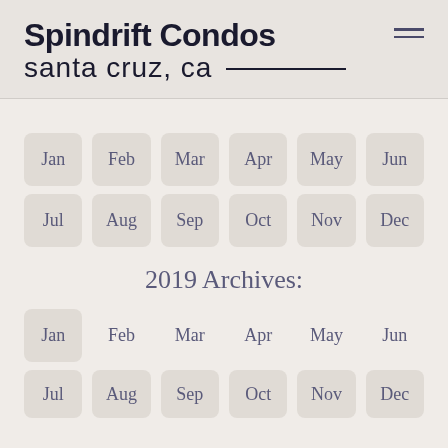Spindrift Condos
santa cruz, ca
Jan, Feb, Mar, Apr, May, Jun, Jul, Aug, Sep, Oct, Nov, Dec
2019 Archives:
Jan, Feb, Mar, Apr, May, Jun
Jul, Aug, Sep, Oct, Nov, Dec (partial)